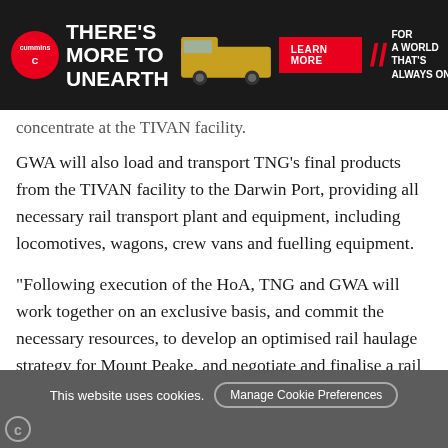[Figure (other): Cummins advertisement banner: dark background with Cummins logo, headline 'THERE'S MORE TO UNEARTH', a mining truck image, a red 'LEARN MORE' button, and tagline 'FOR A WORLD THAT'S ALWAYS ON']
concentrate at the TIVAN facility.
GWA will also load and transport TNG's final products from the TIVAN facility to the Darwin Port, providing all necessary rail transport plant and equipment, including locomotives, wagons, crew vans and fuelling equipment.
“Following execution of the HoA, TNG and GWA will work together on an exclusive basis, and commit the necessary resources, to develop an optimised rail haulage strategy for Mount Peake, and negotiate and finalise a rail haulage agreement,” TNG said.
TNG’s Managing Director and CEO, Paul Burton, said:
This website uses cookies.
Manage Cookie Preferences